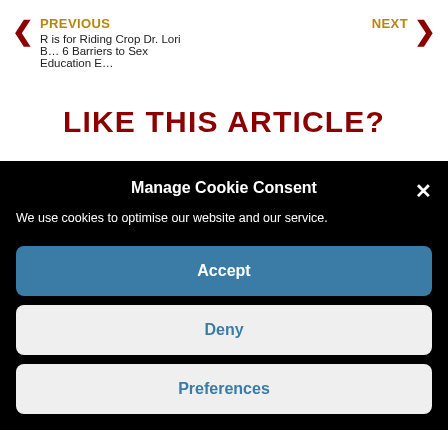PREVIOUS  R is for Riding Crop Dr. Lori B…  |  NEXT  6 Barriers to Sex Education E…
LIKE THIS ARTICLE?
Manage Cookie Consent
We use cookies to optimise our website and our service.
Accept
Deny
Preferences